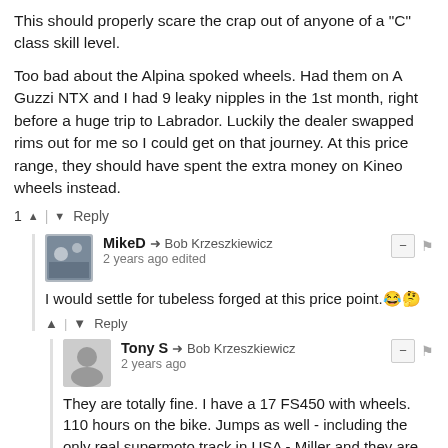This should properly scare the crap out of anyone of a "C" class skill level.
Too bad about the Alpina spoked wheels. Had them on A Guzzi NTX and I had 9 leaky nipples in the 1st month, right before a huge trip to Labrador. Luckily the dealer swapped rims out for me so I could get on that journey. At this price range, they should have spent the extra money on Kineo wheels instead.
1 ↑ | ↓ Reply
MikeD → Bob Krzeszkiewicz
2 years ago edited
I would settle for tubeless forged at this price point. 😊🤞
↑ | ↓ Reply
Tony S → Bob Krzeszkiewicz
2 years ago
They are totally fine. I have a 17 FS450 with wheels. 110 hours on the bike. Jumps as well - including the only real supermoto track in USA - Miller and they are totally fine.
↑ | ↓ Reply